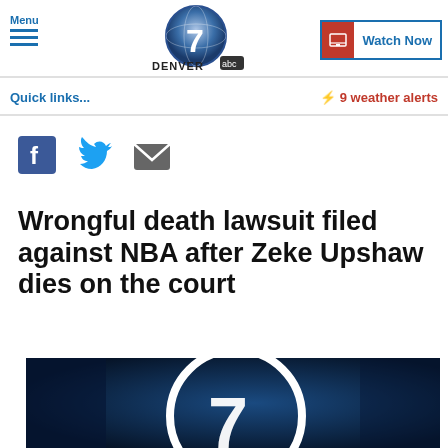Menu | Denver 7 ABC | Watch Now
Quick links... ⚡ 9 weather alerts
[Figure (other): Social share icons: Facebook, Twitter, Email]
Wrongful death lawsuit filed against NBA after Zeke Upshaw dies on the court
[Figure (other): Denver7 ABC logo video thumbnail with large '7' circle graphic on dark blue background]